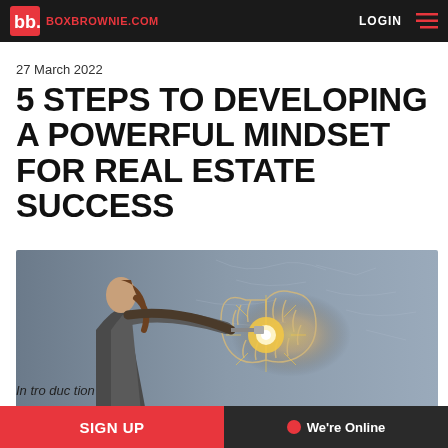BOXBROWNIE.COM | LOGIN
27 March 2022
5 STEPS TO DEVELOPING A POWERFUL MINDSET FOR REAL ESTATE SUCCESS
[Figure (photo): Woman in business attire painting or drawing on a glowing human brain illustration against a chalkboard background]
SIGN UP | We're Online